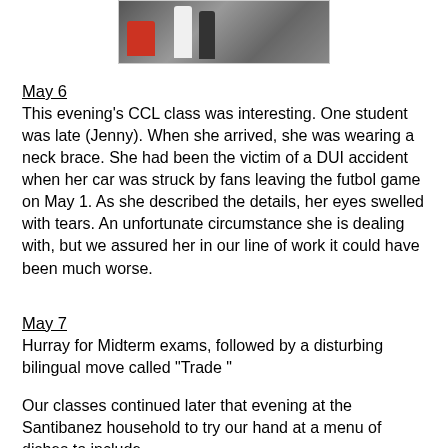[Figure (photo): A photograph showing people in what appears to be an indoor setting with a red chair visible]
May 6
This evening's CCL class was interesting. One student was late (Jenny). When she arrived, she was wearing a neck brace. She had been the victim of a DUI accident when her car was struck by fans leaving the futbol game on May 1. As she described the details, her eyes swelled with tears. An unfortunate circumstance she is dealing with, but we assured her in our line of work it could have been much worse.
May 7
Hurray for Midterm exams, followed by a disturbing bilingual move called "Trade "
Our classes continued later that evening at the Santibanez household to try our hand at a menu of dishes to include